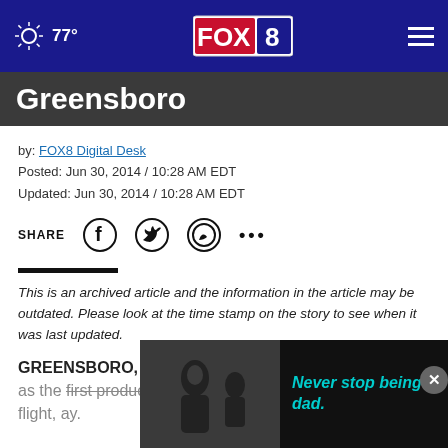77° FOX 8
Greensboro
by: FOX8 Digital Desk
Posted: Jun 30, 2014 / 10:28 AM EDT
Updated: Jun 30, 2014 / 10:28 AM EDT
SHARE
This is an archived article and the information in the article may be outdated. Please look at the time stamp on the story to see when it was last updated.
GREENSBORO, N.C. — HondaJet reached a milestone as the first production achieved first successful test flight. ay.
[Figure (photo): Advertisement overlay with black and white photo of a man and child, with text 'Never stop being a dad.' in teal/cyan color]